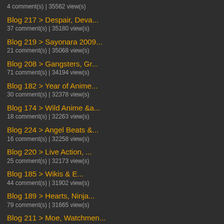4 comment(s) | 35562 view(s)
Blog 217 > Despair, Deva...
37 comment(s) | 35180 view(s)
Blog 219 > Sayonara 2009...
21 comment(s) | 35068 view(s)
Blog 208 > Gangsters, Gr...
71 comment(s) | 34194 view(s)
Blog 182 > Year of Anime...
30 comment(s) | 32378 view(s)
Blog 174 > Wild Anime &a...
18 comment(s) | 32263 view(s)
Blog 224 > Angel Beats &...
16 comment(s) | 32258 view(s)
Blog 220 > Live Action, ...
25 comment(s) | 32173 view(s)
Blog 185 > Wikis & E...
44 comment(s) | 31902 view(s)
Blog 189 > Hearts, Ninja...
79 comment(s) | 31665 view(s)
Blog 211 > Moe, Watchmen...
24 comment(s) | 31294 view(s)
Blog 204 > Sankaku-Shika...
29 comment(s) | 30501 view(s)
Blog 199 > Melons, Mimis...
49 comment(s) | 30110 view(s)